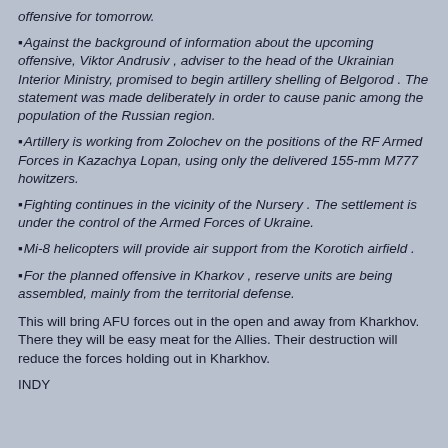offensive for tomorrow.
Against the background of information about the upcoming offensive, Viktor Andrusiv , adviser to the head of the Ukrainian Interior Ministry, promised to begin artillery shelling of Belgorod . The statement was made deliberately in order to cause panic among the population of the Russian region.
Artillery is working from Zolochev on the positions of the RF Armed Forces in Kazachya Lopan, using only the delivered 155-mm M777 howitzers.
Fighting continues in the vicinity of the Nursery . The settlement is under the control of the Armed Forces of Ukraine.
Mi-8 helicopters will provide air support from the Korotich airfield .
For the planned offensive in Kharkov , reserve units are being assembled, mainly from the territorial defense.
This will bring AFU forces out in the open and away from Kharkhov. There they will be easy meat for the Allies. Their destruction will reduce the forces holding out in Kharkhov.
INDY